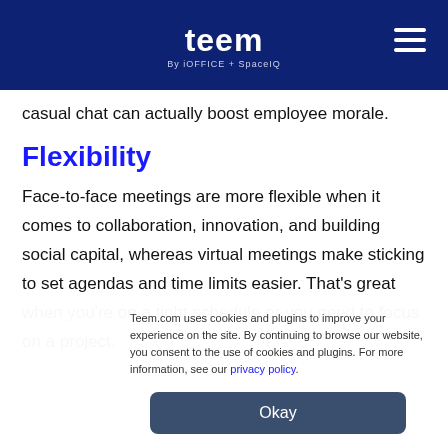teem By iOFFICE + SpaceIQ
casual chat can actually boost employee morale.
Flexibility
Face-to-face meetings are more flexible when it comes to collaboration, innovation, and building social capital, whereas virtual meetings make sticking to set agendas and time limits easier. That's great when you're on a tight schedule or you need to focus on a project.
Teem.com uses cookies and plugins to improve your experience on the site. By continuing to browse our website, you consent to the use of cookies and plugins. For more information, see our privacy policy.